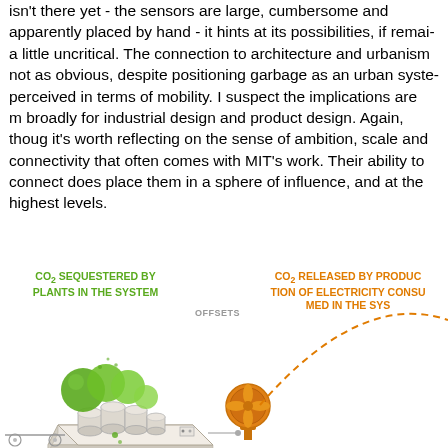isn't there yet - the sensors are large, cumbersome and apparently placed by hand - it hints at its possibilities, if remaining a little uncritical. The connection to architecture and urbanism is not as obvious, despite positioning garbage as an urban system perceived in terms of mobility. I suspect the implications are more broadly for industrial design and product design. Again, though, it's worth reflecting on the sense of ambition, scale and connectivity that often comes with MIT's work. Their ability to connect does place them in a sphere of influence, and at the highest levels.
[Figure (infographic): Diagram showing CO2 cycle: green circles (plants) on a modular system unit offset CO2 released by electricity consumption. A dashed orange arc connects a fan/motor icon on the right. Labels: 'CO2 SEQUESTERED BY PLANTS IN THE SYSTEM' (green, left), 'OFFSETS' (grey, center), 'CO2 RELEASED BY PRODUCTION OF ELECTRICITY CONSUMED IN THE SYSTEM' (orange, right).]